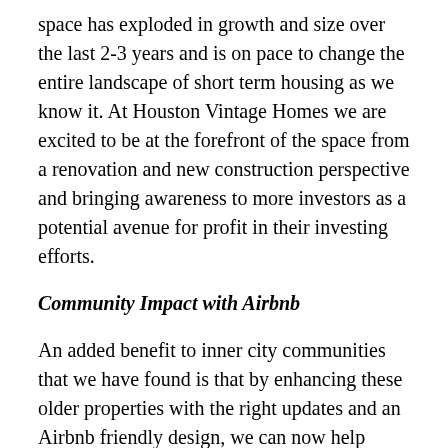space has exploded in growth and size over the last 2-3 years and is on pace to change the entire landscape of short term housing as we know it. At Houston Vintage Homes we are excited to be at the forefront of the space from a renovation and new construction perspective and bringing awareness to more investors as a potential avenue for profit in their investing efforts.
Community Impact with Airbnb
An added benefit to inner city communities that we have found is that by enhancing these older properties with the right updates and an Airbnb friendly design, we can now help more people afford to live in areas undergoing gentrification! It's a WIN-WIN solution for the property owner, the community, Airbnb and the city overall as they receive a hotel tax!
If you are interested in learning more about how you can